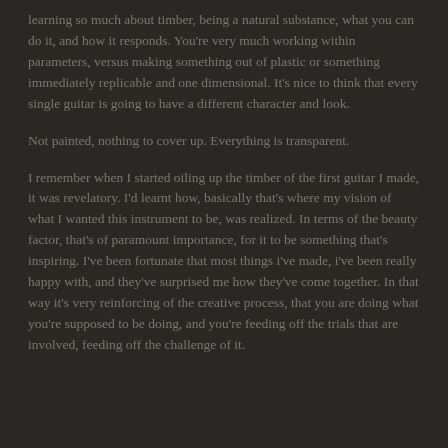learning so much about timber, being a natural substance, what you can do it, and how it responds. You're very much working within parameters, versus making something out of plastic or something immediately replicable and one dimensional. It's nice to think that every single guitar is going to have a different character and look.
Not painted, nothing to cover up. Everything is transparent.
I remember when I started oiling up the timber of the first guitar I made, it was revelatory. I'd learnt how, basically that's where my vision of what I wanted this instrument to be, was realized. In terms of the beauty factor, that's of paramount importance, for it to be something that's inspiring. I've been fortunate that most things i've made, i've been really happy with, and they've surprised me how they've come together. In that way it's very reinforcing of the creative process, that you are doing what you're supposed to be doing, and you're feeding off the trials that are involved, feeding off the challenge of it.